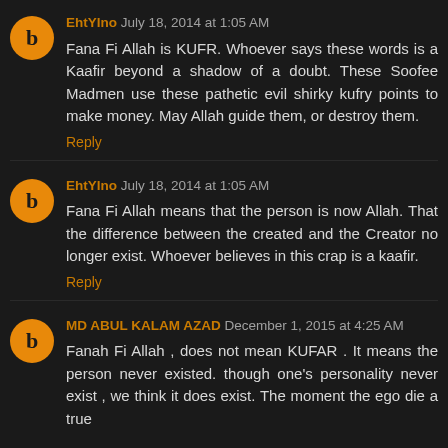EhtYIno July 18, 2014 at 1:05 AM
Fana Fi Allah is KUFR. Whoever says these words is a Kaafir beyond a shadow of a doubt. These Soofee Madmen use these pathetic evil shirky kufry points to make money. May Allah guide them, or destroy them.
Reply
EhtYIno July 18, 2014 at 1:05 AM
Fana Fi Allah means that the person is now Allah. That the difference between the created and the Creator no longer exist. Whoever believes in this crap is a kaafir.
Reply
MD ABUL KALAM AZAD December 1, 2015 at 4:25 AM
Fanah Fi Allah , does not mean KUFAR . It means the person never existed. though one's personality never exist , we think it does exist. The moment the ego die a true